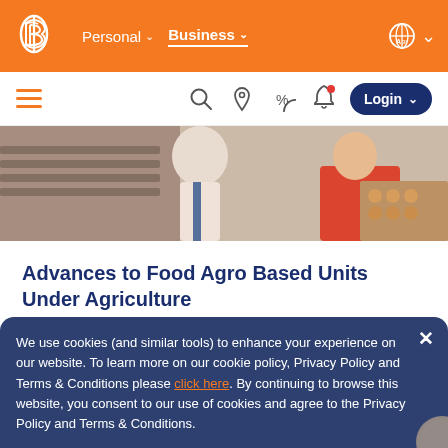[Figure (screenshot): Bank of Baroda website navigation header with orange background, logo, Personal and Business nav links, globe icon]
[Figure (screenshot): Secondary navigation bar with hamburger menu, search, location, percent, bell icons, and Login button]
[Figure (photo): Hero image of bakery workers handling food trays in a kitchen setting]
Advances to Food Agro Based Units Under Agriculture
Know More →
We use cookies (and similar tools) to enhance your experience on our website. To learn more on our cookie policy, Privacy Policy and Terms & Conditions please click here. By continuing to browse this website, you consent to our use of cookies and agree to the Privacy Policy and Terms & Conditions.